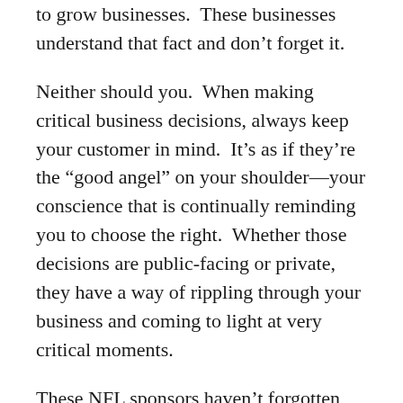to grow businesses.  These businesses understand that fact and don't forget it.
Neither should you.  When making critical business decisions, always keep your customer in mind.  It's as if they're the “good angel” on your shoulder—your conscience that is continually reminding you to choose the right.  Whether those decisions are public-facing or private, they have a way of rippling through your business and coming to light at very critical moments.
These NFL sponsors haven’t forgotten their customers, and we’re fortunate to have better behavioral regulation in the NFL because of it.  As you keep your customers in mind you will